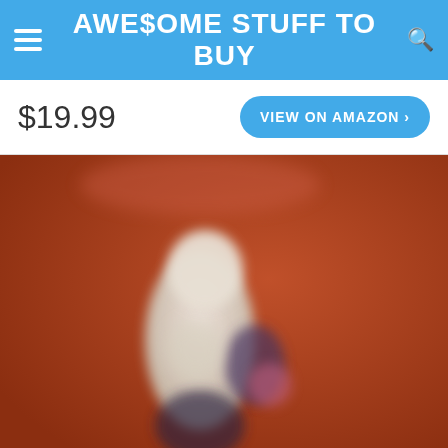AWE$OME STUFF TO BUY
$19.99
VIEW ON AMAZON >
[Figure (photo): A blurry product photo on a reddish-brown background showing a white and dark colored figurine or toy]